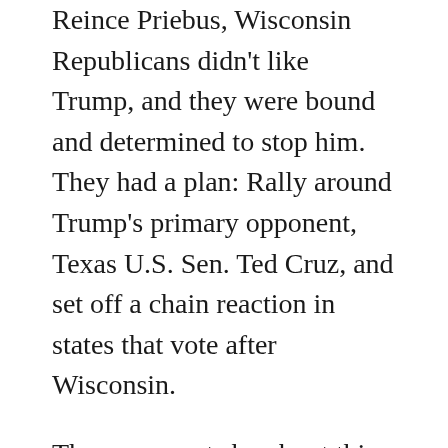Reince Priebus, Wisconsin Republicans didn't like Trump, and they were bound and determined to stop him. They had a plan: Rally around Trump's primary opponent, Texas U.S. Sen. Ted Cruz, and set off a chain reaction in states that vote after Wisconsin.
They were not shy about this. Their plan was widely circulated. They had financial backing from the national Club for Growth, a conservative group whose leader vowed Wisconsin would be a "game changer."
Walker, who had called on the party to rally around a "positive, conservative alternative" to Trump when he ended his own presidential bid in September 2015,